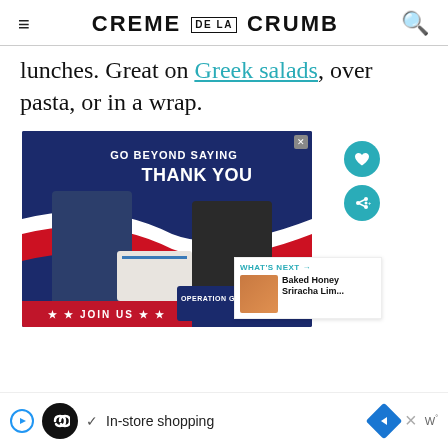CREME DE LA CRUMB
lunches. Great on Greek salads, over pasta, or in a wrap.
[Figure (photo): Advertisement: GO BEYOND SAYING THANK YOU — Operation Gratitude military support image with two people exchanging a care package. JOIN US button at bottom. What's Next: Baked Honey Sriracha Lim...]
In-store shopping